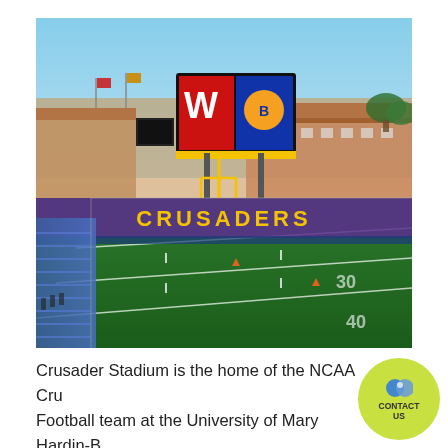[Figure (photo): Aerial view of Crusader Stadium football field with purple and gold end zone lettering reading CRUSADERS, blue stadium seating visible on left, large LED scoreboard/video board in the background showing team logos, brick buildings visible beyond the stadium, under a clear blue sky.]
Crusader Stadium is the home of the NCAA Cru Football team at the University of Mary Hardin-B... During the summer of 2021, Daktronics upgrade... end-zone scoreboard and sound system with the g...